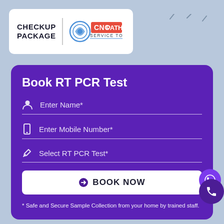[Figure (logo): CNC Pathlab logo with 'CHECKUP PACKAGE' text and 'SERVICE TO MANKIND' tagline in a white card]
Book RT PCR Test
Enter Name*
Enter Mobile Number*
Select RT PCR Test*
BOOK NOW
* Safe and Secure Sample Collection from your home by trained staff.